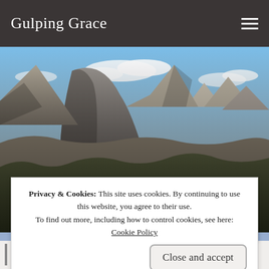Gulping Grace
[Figure (photo): Mountain landscape photo showing Half Dome and rocky peaks at Yosemite with blue sky and clouds, used as hero banner image]
Posted on June 14, 2017
What My Visit to the Dentist Taught Me About Church
Privacy & Cookies: This site uses cookies. By continuing to use this website, you agree to their use. To find out more, including how to control cookies, see here: Cookie Policy
Close and accept